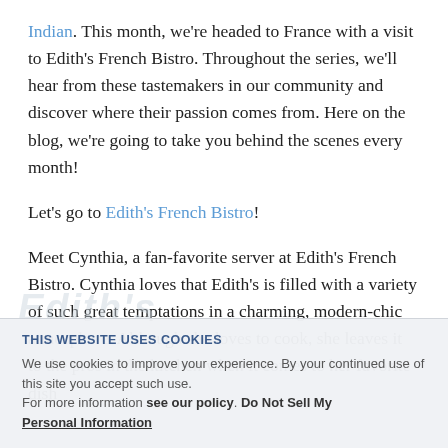Indian. This month, we're headed to France with a visit to Edith's French Bistro. Throughout the series, we'll hear from these tastemakers in our community and discover where their passion comes from. Here on the blog, we're going to take you behind the scenes every month!
Let's go to Edith's French Bistro!
Meet Cynthia, a fan-favorite server at Edith's French Bistro. Cynthia loves that Edith's is filled with a variety of such great temptations in a charming, modern-chic atmosphere. Although she loves to cook, she leaves it to the pros in the kitchen when it comes to her favorite dish
THIS WEBSITE USES COOKIES
We use cookies to improve your experience. By your continued use of this site you accept such use. For more information see our policy. Do Not Sell My Personal Information